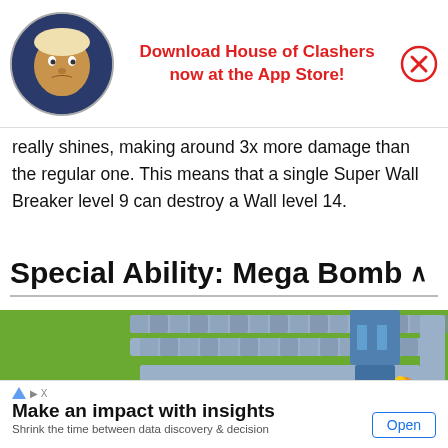[Figure (screenshot): App advertisement banner with game character avatar, red text 'Download House of Clashers now at the App Store!' and a red X close button]
really shines, making around 3x more damage than the regular one. This means that a single Super Wall Breaker level 9 can destroy a Wall level 14.
Special Ability: Mega Bomb ^
[Figure (screenshot): Game screenshot showing a Super Wall Breaker character attacking walls in Clash of Clans, with smoke/explosion effects and a purple health bar visible above the character]
[Figure (screenshot): Bottom advertisement banner with arrow icon and X, title 'Make an impact with insights', subtitle 'Shrink the time between data discovery & decision', and an Open button]